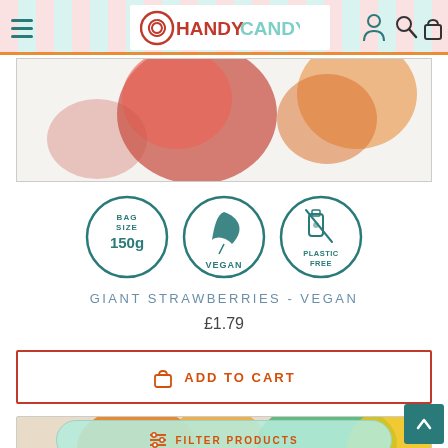Handy Candy - navigation header with logo, hamburger menu, user, search and cart icons
[Figure (photo): Close-up photo of gummy candy products (red strawberry-shaped jellies and other coloured sweets) on a white background]
[Figure (infographic): Three circular badge icons: BAG SIZE 150g, VEGAN (with leaf icon), PLASTIC FREE (with bottle/flask icon) — all in teal/dark green outline style]
GIANT STRAWBERRIES - VEGAN
£1.79
ADD TO CART
[Figure (photo): Partially visible product image of colourful candy bag at bottom of page]
FILTER PRODUCTS